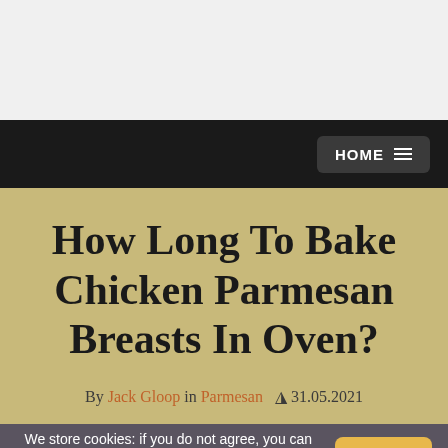HOME
How Long To Bake Chicken Parmesan Breasts In Oven?
By Jack Gloop in Parmesan  31.05.2021
We store cookies: if you do not agree, you can close the site Agreemen